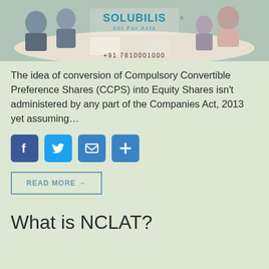[Figure (photo): Business meeting scene with people around a conference table; Solubilis logo with tagline 'Act For Acts' and phone number +91 7810001000 overlay]
The idea of conversion of Compulsory Convertible Preference Shares (CCPS) into Equity Shares isn't administered by any part of the Companies Act, 2013 yet assuming…
[Figure (infographic): Social share buttons: Facebook, Twitter, Email, and More (+)]
READ MORE →
What is NCLAT?